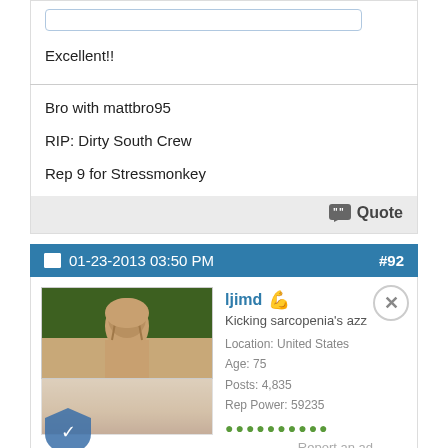Excellent!!
Bro with mattbro95

RIP: Dirty South Crew

Rep 9 for Stressmonkey
Quote
01-23-2013 03:50 PM   #92
[Figure (photo): User avatar photo showing a person]
ljimd
Kicking sarcopenia's azz
Location: United States
Age: 75
Posts: 4,835
Rep Power: 59235
Report an ad
Happy Birthday Lisa